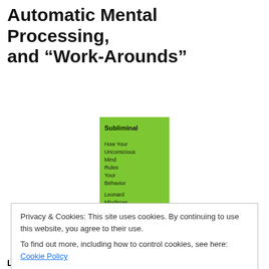Automatic Mental Processing, and “Work-Arounds”
[Figure (photo): Book cover of 'Subliminal: How Your Unconscious Mind Rules Your Behavior' by Leonard Mlodinow, bright green cover with black text]
[Figure (photo): Photo of author Leonard Mlodinow, middle-aged man with gray hair and glasses, outdoors with green foliage background]
Privacy & Cookies: This site uses cookies. By continuing to use this website, you agree to their use.
To find out more, including how to control cookies, see here: Cookie Policy
Close and accept
Leonard Mlodinow’s Subliminal: How Your Unconscious